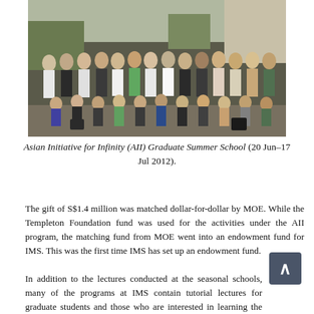[Figure (photo): Group photo of participants at the Asian Initiative for Infinity (AII) Graduate Summer School, showing a large group of students and faculty standing and kneeling outdoors.]
Asian Initiative for Infinity (AII) Graduate Summer School (20 Jun–17 Jul 2012).
The gift of S$1.4 million was matched dollar-for-dollar by MOE. While the Templeton Foundation fund was used for the activities under the AII program, the matching fund from MOE went into an endowment fund for IMS. This was the first time IMS has set up an endowment fund.
In addition to the lectures conducted at the seasonal schools, many of the programs at IMS contain tutorial lectures for graduate students and those who are interested in learning the subject. In order to make the notes for the tutorial lectures and seasonal schools available to a wider audience, IMS publishes a lecture